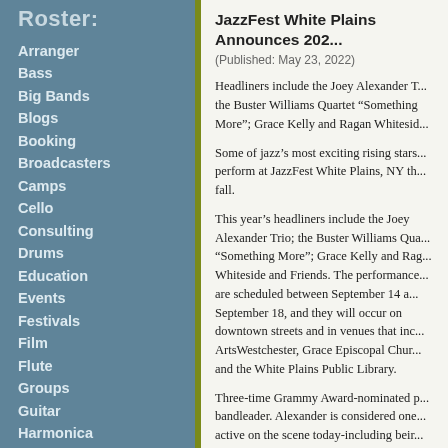Roster:
Arranger
Bass
Big Bands
Blogs
Booking
Broadcasters
Camps
Cello
Consulting
Drums
Education
Events
Festivals
Film
Flute
Groups
Guitar
Harmonica
Management
Organ
Organizations
Percussion
Piano
Producing
Publicity
Publishing
JazzFest White Plains Announces 202...
(Published: May 23, 2022)
Headliners include the Joey Alexander T... the Buster Williams Quartet "Something More"; Grace Kelly and Ragan Whitesid...
Some of jazz's most exciting rising stars... perform at JazzFest White Plains, NY th... fall.
This year's headliners include the Joey Alexander Trio; the Buster Williams Qua... "Something More"; Grace Kelly and Rag... Whiteside and Friends. The performance... are scheduled between September 14 a... September 18, and they will occur on downtown streets and in venues that inc... ArtsWestchester, Grace Episcopal Chur... and the White Plains Public Library.
Three-time Grammy Award-nominated p... bandleader. Alexander is considered one... active on the scene today-including beir... Award in a jazz category.
Grammy Award-winning bassist Buster W...